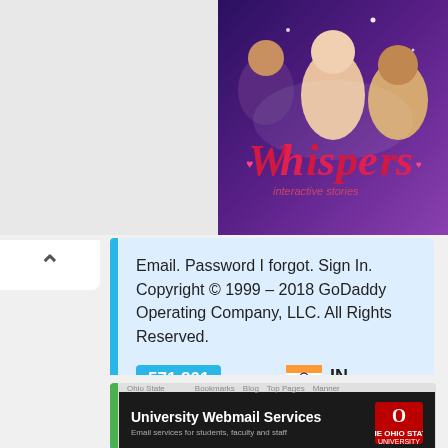[Figure (screenshot): Whispers game promotional image with stylized couple artwork and pink/red title text on dark purple background]
Email. Password I forgot. Sign In. Copyright © 1999 – 2018 GoDaddy Operating Company, LLC. All Rights Reserved.
571,801
Pageviews
IN
Top Country
Up
Site Status
14h ago
Last Pinged
[Figure (screenshot): University Webmail Services screenshot showing Ohio State University branding on dark background]